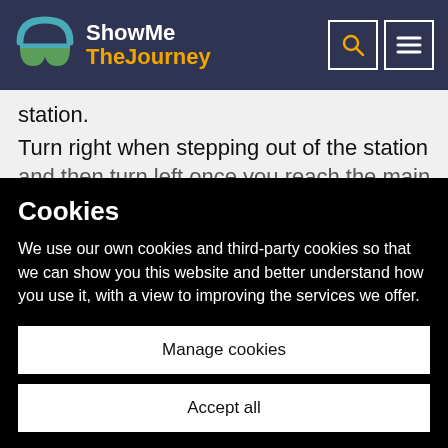ShowMe TheJourney
station.
Turn right when stepping out of the station and then turn left once you reach the main
Cookies
We use our own cookies and third-party cookies so that we can show you this website and better understand how you use it, with a view to improving the services we offer.
Manage cookies
Accept all